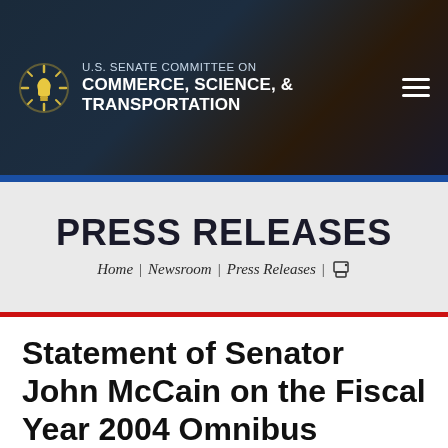U.S. SENATE COMMITTEE ON COMMERCE, SCIENCE, & TRANSPORTATION
PRESS RELEASES
Home | Newsroom | Press Releases | 🖨
Statement of Senator John McCain on the Fiscal Year 2004 Omnibus Appropriations